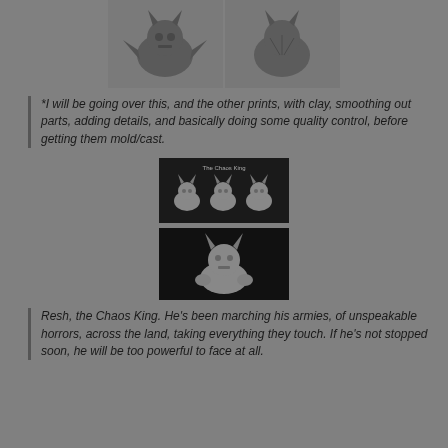[Figure (photo): Two grayscale 3D printed miniature figures side by side — front and back views of a horned creature bust]
*I will be going over this, and the other prints, with clay, smoothing out parts, adding details, and basically doing some quality control, before getting them mold/cast.
[Figure (photo): Three small dark figurines of a horned character (Resh the Chaos King) shown from different angles on a black background]
[Figure (photo): Single figurine of horned character (Resh the Chaos King) on a black background]
Resh, the Chaos King. He's been marching his armies, of unspeakable horrors, across the land, taking everything they touch. If he's not stopped soon, he will be too powerful to face at all.